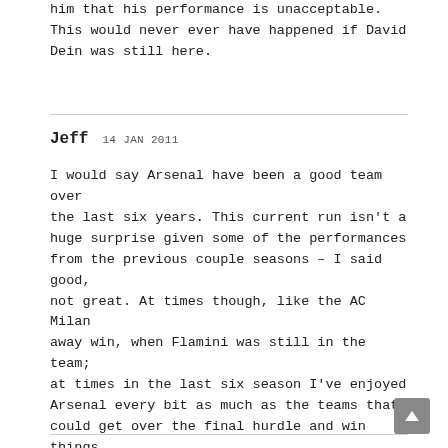him that his performance is unacceptable. This would never ever have happened if David Dein was still here.
Jeff  14 JAN 2011
I would say Arsenal have been a good team over the last six years. This current run isn't a huge surprise given some of the performances from the previous couple seasons – I said good, not great. At times though, like the AC Milan away win, when Flamini was still in the team; at times in the last six season I've enjoyed Arsenal every bit as much as the teams that could get over the final hurdle and win things.